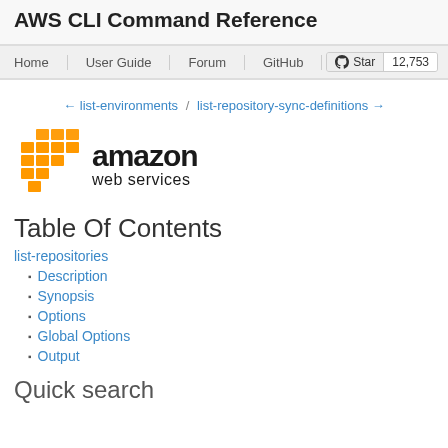AWS CLI Command Reference
Home  User Guide  Forum  GitHub  Star  12,753
← list-environments / list-repository-sync-definitions →
[Figure (logo): Amazon Web Services logo with orange cube grid and 'amazon web services' text]
Table Of Contents
list-repositories
Description
Synopsis
Options
Global Options
Output
Quick search